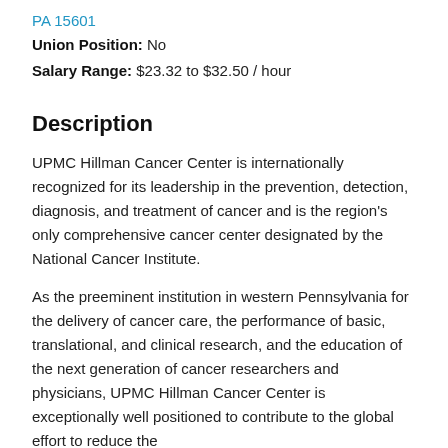PA 15601
Union Position: No
Salary Range: $23.32 to $32.50 / hour
Description
UPMC Hillman Cancer Center is internationally recognized for its leadership in the prevention, detection, diagnosis, and treatment of cancer and is the region's only comprehensive cancer center designated by the National Cancer Institute.
As the preeminent institution in western Pennsylvania for the delivery of cancer care, the performance of basic, translational, and clinical research, and the education of the next generation of cancer researchers and physicians, UPMC Hillman Cancer Center is exceptionally well positioned to contribute to the global effort to reduce the